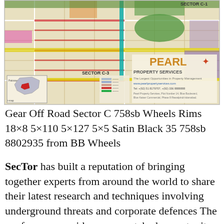[Figure (map): Aerial/plan map of a residential sector layout labeled 'Sector C-1' and 'Sector C-3', with colored roads, plots, green spaces, and a Pearl Property Services logo with website www.pearlpropertyservices.com and contact info. Small inset map of Pakistan shown in lower left.]
Gear Off Road Sector C 758sb Wheels Rims 18×8 5×110 5×127 5×5 Satin Black 35 758sb 8802935 from BB Wheels
SecTor has built a reputation of bringing together experts from around the world to share their latest research and techniques involving underground threats and corporate defences The conference provides an unmatched opportunity for IT Security Professionals Managers and Executives to